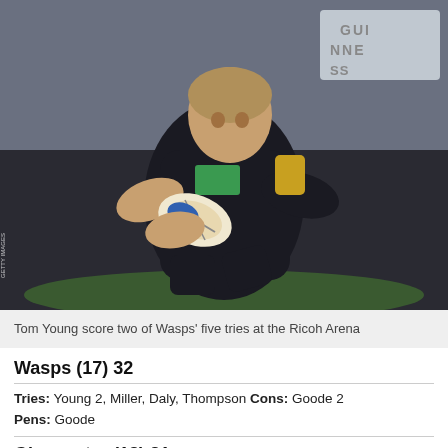[Figure (photo): Rugby player Tom Young in black Wasps kit carrying ball, leaning forward in motion during match at Ricoh Arena]
Tom Young score two of Wasps' five tries at the Ricoh Arena
Wasps (17) 32
Tries: Young 2, Miller, Daly, Thompson Cons: Goode 2 Pens: Goode
Gloucester (13) 21
Tries: Moriarty, Purdy Cons: Hook Pens: Hook 3
Wasps secured a bonus-point victory over Gloucester